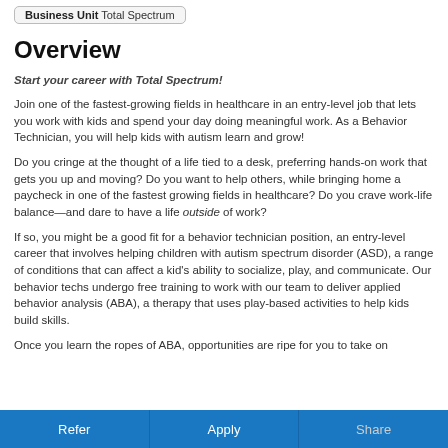Business Unit  Total Spectrum
Overview
Start your career with Total Spectrum!
Join one of the fastest-growing fields in healthcare in an entry-level job that lets you work with kids and spend your day doing meaningful work. As a Behavior Technician, you will help kids with autism learn and grow!
Do you cringe at the thought of a life tied to a desk, preferring hands-on work that gets you up and moving? Do you want to help others, while bringing home a paycheck in one of the fastest growing fields in healthcare? Do you crave work-life balance—and dare to have a life outside of work?
If so, you might be a good fit for a behavior technician position, an entry-level career that involves helping children with autism spectrum disorder (ASD), a range of conditions that can affect a kid's ability to socialize, play, and communicate. Our behavior techs undergo free training to work with our team to deliver applied behavior analysis (ABA), a therapy that uses play-based activities to help kids build skills.
Once you learn the ropes of ABA, opportunities are ripe for you to take on
Refer  Apply  Share